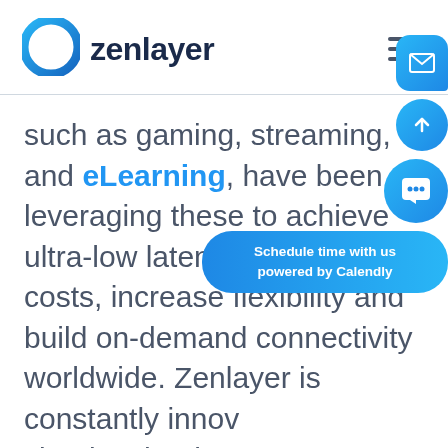zenlayer
such as gaming, streaming, and eLearning, have been leveraging these to achieve ultra-low latency, reduce costs, increase flexibility and build on-demand connectivity worldwide. Zenlayer is constantly innovating its edge cloud technology stack to...
[Figure (illustration): Floating action buttons: email icon, up-arrow icon, chat icon, and Calendly scheduling banner]